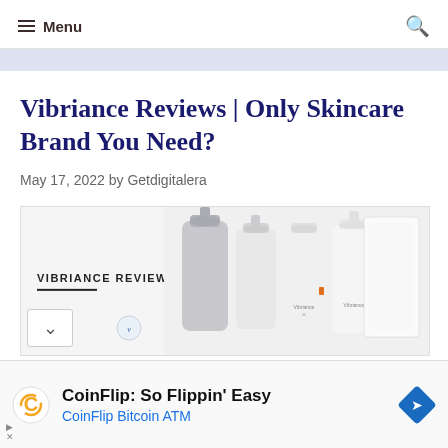Menu
Vibriance Reviews | Only Skincare Brand You Need?
May 17, 2022 by Getdigitalera
[Figure (photo): Vibriance skincare product lineup showing multiple white pump bottles and containers with Vibriance branding, alongside a label reading VIBRIANCE REVIEWS]
CoinFlip: So Flippin' Easy
CoinFlip Bitcoin ATM